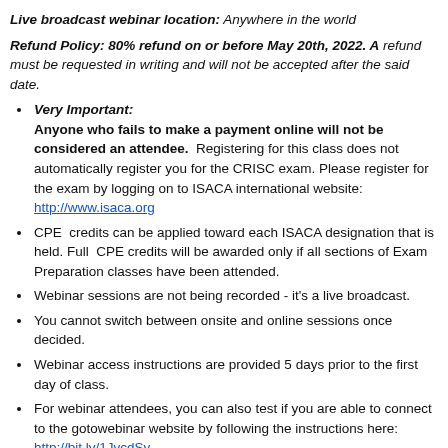Live broadcast webinar location: Anywhere in the world
Refund Policy: 80% refund on or before May 20th, 2022. A refund must be requested in writing and will not be accepted after the said date.
Very Important: Anyone who fails to make a payment online will not be considered an attendee. Registering for this class does not automatically register you for the CRISC exam. Please register for the exam by logging on to ISACA international website: http://www.isaca.org
CPE credits can be applied toward each ISACA designation that is held. Full CPE credits will be awarded only if all sections of Exam Preparation classes have been attended.
Webinar sessions are not being recorded - it's a live broadcast.
You cannot switch between onsite and online sessions once decided.
Webinar access instructions are provided 5 days prior to the first day of class.
For webinar attendees, you can also test if you are able to connect to the gotowebinar website by following the instructions here: http://bit.ly/1JvcdSy